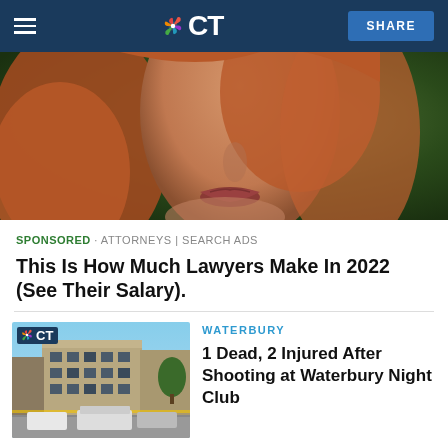NBC CT
[Figure (photo): Close-up photo of a woman with long auburn/red hair, partial face visible showing nose and lips, dark background with greenery]
SPONSORED · ATTORNEYS | SEARCH ADS
This Is How Much Lawyers Make In 2022 (See Their Salary).
[Figure (photo): News thumbnail showing a multi-story brick building in Waterbury with police vehicles outside, NBC CT logo overlay]
WATERBURY
1 Dead, 2 Injured After Shooting at Waterbury Night Club